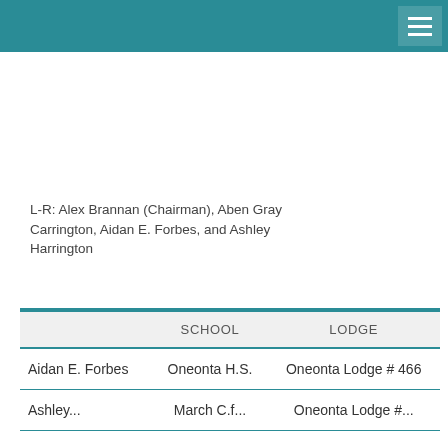L-R: Alex Brannan (Chairman), Aben Gray Carrington, Aidan E. Forbes, and Ashley Harrington
|  | SCHOOL | LODGE |
| --- | --- | --- |
| Aidan E. Forbes | Oneonta H.S. | Oneonta Lodge # 466 |
| Ashley... | March C.f... | Oneonta Lodge #... |